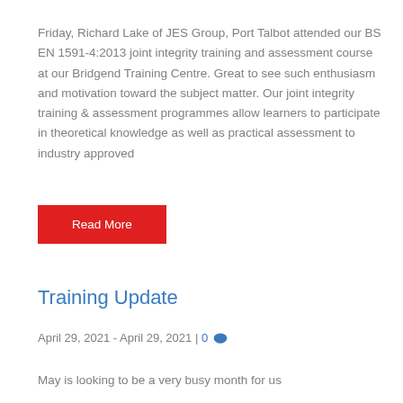Friday, Richard Lake of JES Group, Port Talbot attended our BS EN 1591-4:2013 joint integrity training and assessment course at our Bridgend Training Centre. Great to see such enthusiasm and motivation toward the subject matter. Our joint integrity training & assessment programmes allow learners to participate in theoretical knowledge as well as practical assessment to industry approved
Read More
Training Update
April 29, 2021 - April 29, 2021 | 0
May is looking to be a very busy month for us